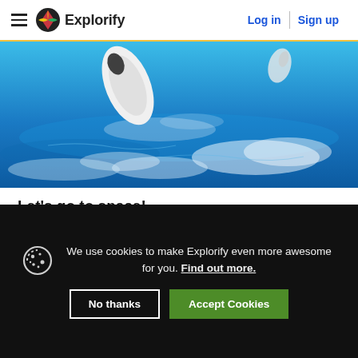Explorify — Log in | Sign up
[Figure (photo): Aerial/space view showing a spacecraft or satellite above Earth with blue ocean and clouds visible below]
Let's go to space!
You don't need to go to space to explore the fascinating science about it. Try one of these activities today!
We use cookies to make Explorify even more awesome for you. Find out more.
No thanks | Accept Cookies